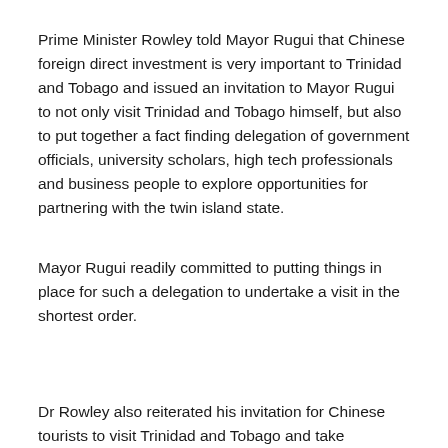Prime Minister Rowley told Mayor Rugui that Chinese foreign direct investment is very important to Trinidad and Tobago and issued an invitation to Mayor Rugui to not only visit Trinidad and Tobago himself, but also to put together a fact finding delegation of government officials, university scholars, high tech professionals and business people to explore opportunities for partnering with the twin island state.
Mayor Rugui readily committed to putting things in place for such a delegation to undertake a visit in the shortest order.
Dr Rowley also reiterated his invitation for Chinese tourists to visit Trinidad and Tobago and take